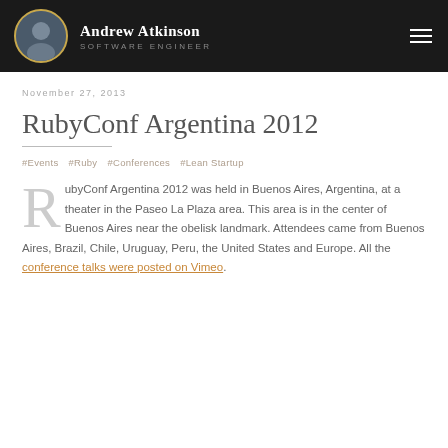Andrew Atkinson · SOFTWARE ENGINEER
November 27, 2013
RubyConf Argentina 2012
#Events   #Ruby   #Conferences   #Lean Startup
RubyConf Argentina 2012 was held in Buenos Aires, Argentina, at a theater in the Paseo La Plaza area. This area is in the center of Buenos Aires near the obelisk landmark. Attendees came from Buenos Aires, Brazil, Chile, Uruguay, Peru, the United States and Europe. All the conference talks were posted on Vimeo.